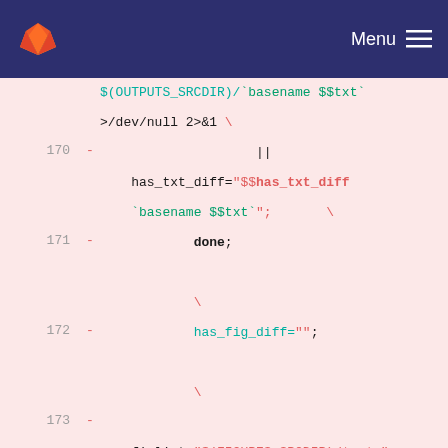GitLab navigation bar with logo and Menu
[Figure (screenshot): GitLab code diff view showing shell script lines 170-175 with removed lines (marked with -) on a pink background]
170 - || has_txt_diff="$$has_txt_diff `basename $$txt`"; \
171 - done;
\
172 - has_fig_diff="";
\
173 - figlist="$(FIGURES_SRCDIR)/*.p*m"; for fig in $$figlist; do \
174 - echo "Diff `basename $$fig`"; \
175 - diff $$fig $(FIGURES_SRCDIR)/`basename $$fig` >/dev/null 2>&1 \